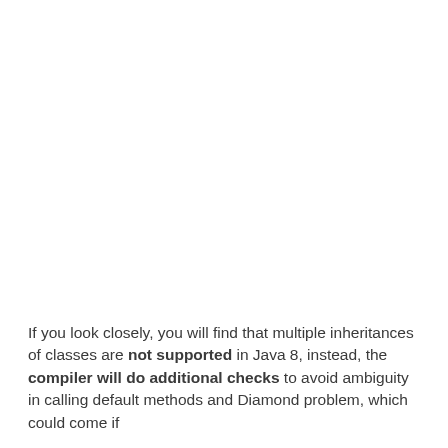If you look closely, you will find that multiple inheritances of classes are not supported in Java 8, instead, the compiler will do additional checks to avoid ambiguity in calling default methods and Diamond problem, which could come if